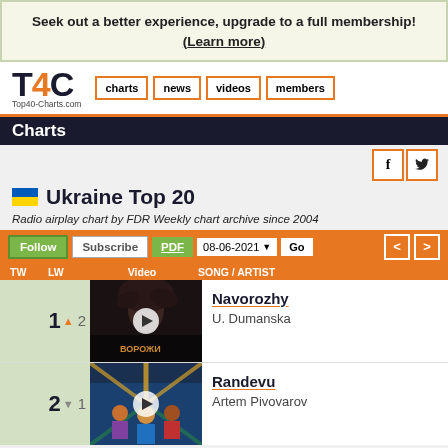Seek out a better experience, upgrade to a full membership! (Learn more)
[Figure (logo): T4C Top40-Charts.com logo with navigation buttons: charts, news, videos, members]
Charts
Ukraine Top 20
Radio airplay chart by FDR Weekly chart archive since 2004
Follow | Subscribe | PDF | 08-06-2021 | Go
| TW | LW | Video | SONG / ARTIST |
| --- | --- | --- | --- |
| 1 ▲ | 2 | [video] | Navorozhy / U. Dumanska |
| 2 ▼ | 1 | [video] | Randevu / Artem Pivovarov |